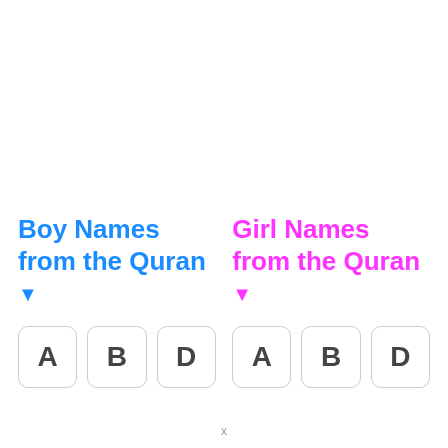Boy Names from the Quran ▼
Girl Names from the Quran ▼
A  B  D
A  B  D